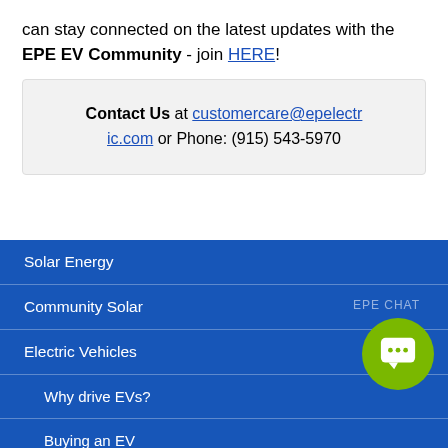can stay connected on the latest updates with the EPE EV Community - join HERE!
Contact Us at customercare@epelectric.com or Phone: (915) 543-5970
Solar Energy
Community Solar
Electric Vehicles
Why drive EVs?
Buying an EV
Incentives in Texas